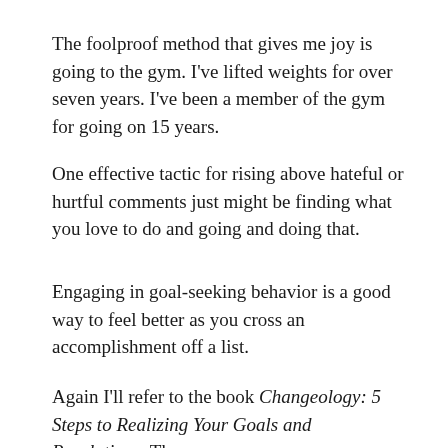The foolproof method that gives me joy is going to the gym. I've lifted weights for over seven years. I've been a member of the gym for going on 15 years.
One effective tactic for rising above hateful or hurtful comments just might be finding what you love to do and going and doing that.
Engaging in goal-seeking behavior is a good way to feel better as you cross an accomplishment off a list.
Again I'll refer to the book Changeology: 5 Steps to Realizing Your Goals and Resolutions. The